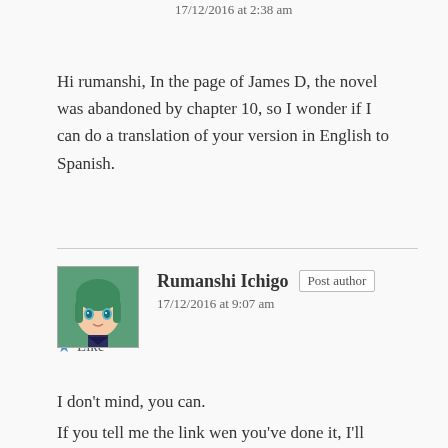17/12/2016 at 2:38 am
Hi rumanshi, In the page of James D, the novel was abandoned by chapter 10, so I wonder if I can do a translation of your version in English to Spanish.
★ Like
Reply ↓
Rumanshi Ichigo  Post author
17/12/2016 at 9:07 am
I don't mind, you can.
If you tell me the link wen you've done it, I'll link to it on this page.